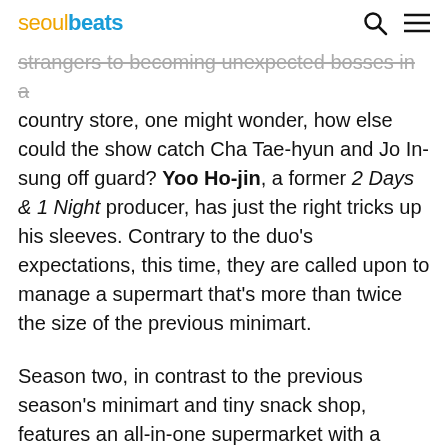seoulbeats
strangers to becoming unexpected bosses in a country store, one might wonder, how else could the show catch Cha Tae-hyun and Jo In-sung off guard? Yoo Ho-jin, a former 2 Days & 1 Night producer, has just the right tricks up his sleeves. Contrary to the duo's expectations, this time, they are called upon to manage a supermart that's more than twice the size of the previous minimart.
Season two, in contrast to the previous season's minimart and tiny snack shop, features an all-in-one supermarket with a butchery, a larger eatery, and a slew of other new household goods that the cast must know like the back of their hands. Having no